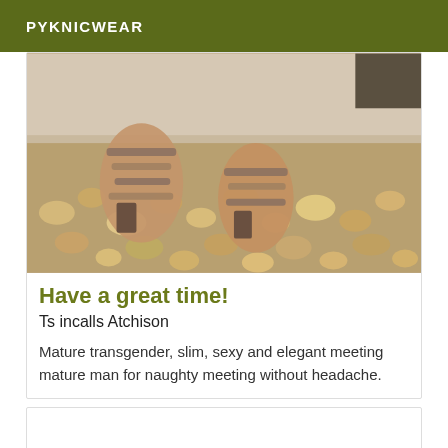PYKNICWEAR
[Figure (photo): Close-up photo of woman's feet wearing strappy sandals standing on gravel/pebble ground near a step or curb.]
Have a great time!
Ts incalls Atchison
Mature transgender, slim, sexy and elegant meeting mature man for naughty meeting without headache.